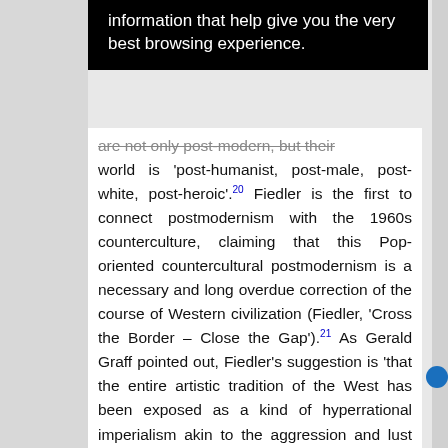[Figure (screenshot): Cookie/browser consent banner overlay in black background with white text reading 'information that help give you the very best browsing experience.']
are not only post-modern, but their world is 'post-humanist, post-male, post-white, post-heroic'.20 Fiedler is the first to connect postmodernism with the 1960s counterculture, claiming that this Pop-oriented countercultural postmodernism is a necessary and long overdue correction of the course of Western civilization (Fiedler, 'Cross the Border – Close the Gap').21 As Gerald Graff pointed out, Fiedler's suggestion is 'that the entire artistic tradition of the West has been exposed as a kind of hyperrational imperialism akin to the aggression and lust for conquest of bourgeois capitalism'.22 Like Howe's postmodern novels, Fiedler's examples of postmodern literature would now not be accepted as such.